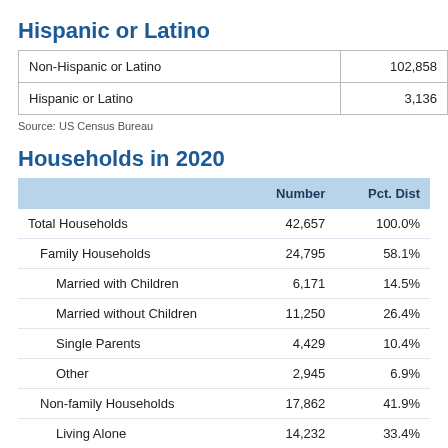Hispanic or Latino
|  |  |
| --- | --- |
| Non-Hispanic or Latino | 102,858 |
| Hispanic or Latino | 3,136 |
Source: US Census Bureau
Households in 2020
|  | Number | Pct. Dist |
| --- | --- | --- |
| Total Households | 42,657 | 100.0% |
| Family Households | 24,795 | 58.1% |
| Married with Children | 6,171 | 14.5% |
| Married without Children | 11,250 | 26.4% |
| Single Parents | 4,429 | 10.4% |
| Other | 2,945 | 6.9% |
| Non-family Households | 17,862 | 41.9% |
| Living Alone | 14,232 | 33.4% |